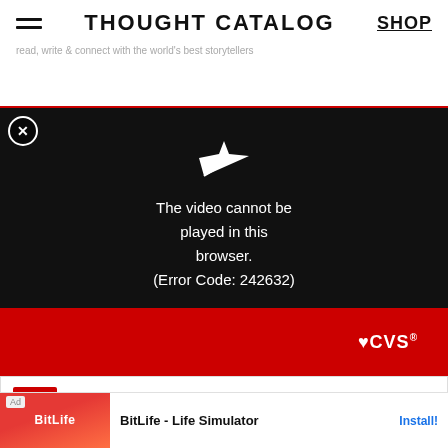THOUGHT CATALOG | SHOP
[Figure (screenshot): Video player showing error message: The video cannot be played in this browser. (Error Code: 242632)]
[Figure (screenshot): CVS Pharmacy advertisement showing red banner with CVS logo, 'Spend $40, Get $10 ExtraBucks' promotion, and CVS Pharmacy Ashburn location with hours 08:00-13:30]
About the author
Lowri
[Figure (screenshot): BitLife - Life Simulator app advertisement with Install button]